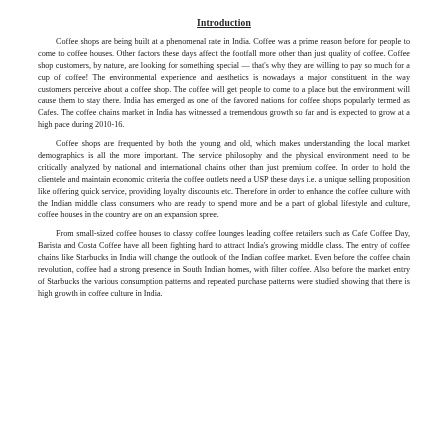Introduction
Coffee shops are being built at a phenomenal rate in India. Coffee was a prime reason before for people to come to coffee houses. Other factors these days affect the footfall more other than just quality of coffee. Coffee shop customers, by nature, are looking for something special — that's why they are willing to pay so much for a cup of coffee! The environmental experience and aesthetics is nowadays a major constituent in the way customers perceive about a coffee shop. The coffee will get people to come to a place but the environment will cause them to stay there. India has emerged as one of the favored nations for coffee shops popularly termed as Cafes. The coffee chains market in India has witnessed a tremendous growth so far and is expected to grow at a high pace during 2010-16.
Coffee shops are frequented by both the young and old, which makes understanding the local market demographics is all the more important. The service philosophy and the physical environment need to be critically analyzed by national and international chains other than just premium coffee. In order to hold the clientele and maintain economic criteria the coffee outlets need a USP these days i.e. a unique selling proposition like offering quick service, providing loyalty discounts etc. Therefore in order to enhance the coffee culture with the Indian middle class consumers who are ready to spend more and be a part of global lifestyle and culture, coffee houses in the country are on an expansion spree.
From small-sized coffee houses to classy coffee lounges leading coffee retailers such as Cafe Coffee Day, Barista and Costa Coffee have all been fighting hard to attract India's growing middle class. The entry of coffee chains like Starbucks in India will change the outlook of the Indian coffee market. Even before the coffee chain revolution, coffee had a strong presence in South Indian homes, with filter coffee. Also before the market entry of Starbucks the various consumption patterns and repeated purchase patterns were studied showing that there is high growth in coffee culture in India.